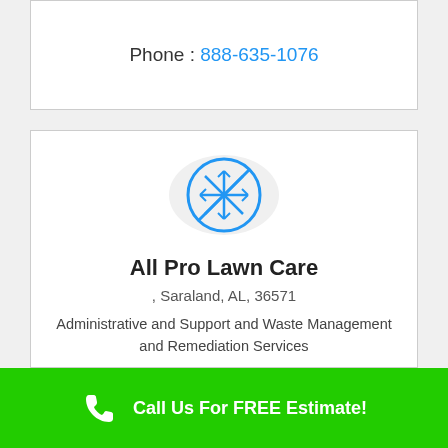Phone : 888-635-1076
[Figure (logo): Circular icon with blue snowflake and a diagonal line through it on a light gray circle background]
All Pro Lawn Care
, Saraland, AL, 36571
Administrative and Support and Waste Management and Remediation Services
[Figure (other): Black button/banner partially visible at bottom of card]
Call Us For FREE Estimate!